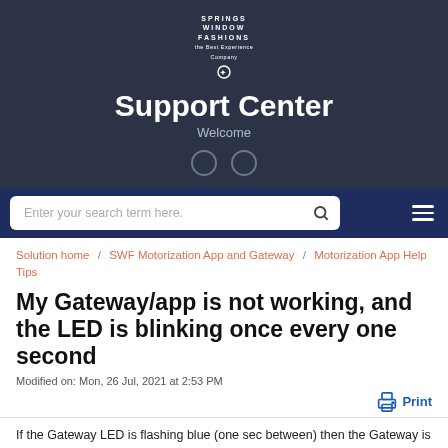SPRINGS WINDOW FASHIONS the Best Experience Company
Support Center
Welcome
Enter your search term here.
Solution home / SWF Motorization App and Gateway / Motorization App Help Tips
My Gateway/app is not working, and the LED is blinking once every one second
Modified on: Mon, 26 Jul, 2021 at 2:53 PM
Print
If the Gateway LED is flashing blue (one sec between) then the Gateway is not connected to Wi-Fi
A. Make sure the Wi-Fi network in the home is working and on